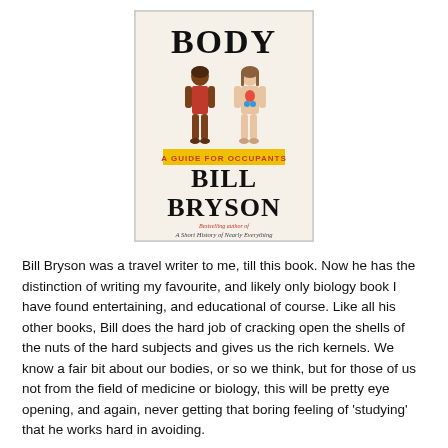[Figure (illustration): Book cover of 'Body: A Guide for Occupants' by Bill Bryson. Cream/off-white background, large bold 'BODY' at top, two illustrated human figures (male and female) showing anatomy, yellow banner reading 'A GUIDE FOR OCCUPANTS', large bold 'BILL BRYSON' text below, and italic text 'Bestselling author of A Short History of Nearly Everything' at bottom.]
Bill Bryson was a travel writer to me, till this book. Now he has the distinction of writing my favourite, and likely only biology book I have found entertaining, and educational of course. Like all his other books, Bill does the hard job of cracking open the shells of the nuts of the hard subjects and gives us the rich kernels. We know a fair bit about our bodies, or so we think, but for those of us not from the field of medicine or biology, this will be pretty eye opening, and again, never getting that boring feeling of 'studying' that he works hard in avoiding.